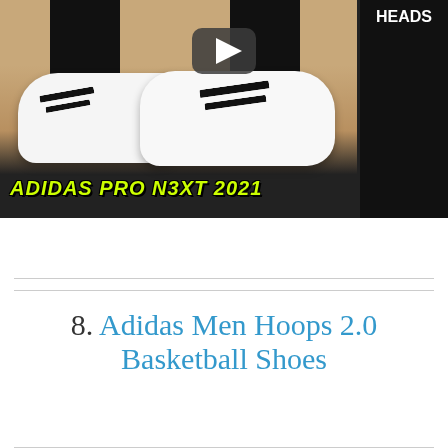[Figure (screenshot): Video thumbnail showing Adidas Pro N3XT 2021 basketball shoes on a court floor. A YouTube play button is visible in the center. Text 'ADIDAS PRO N3XT 2021' appears in green italic bold font at the bottom left. 'HEADS' text visible on the right side panel.]
8. Adidas Men Hoops 2.0 Basketball Shoes